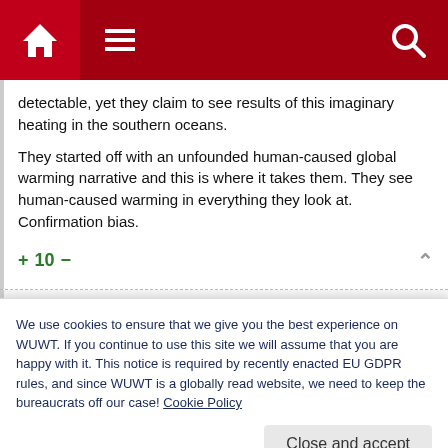WUWT navigation bar with home, menu, and search icons
detectable, yet they claim to see results of this imaginary heating in the southern oceans.
They started off with an unfounded human-caused global warming narrative and this is where it takes them. They see human-caused warming in everything they look at. Confirmation bias.
+ 10 −
We use cookies to ensure that we give you the best experience on WUWT. If you continue to use this site we will assume that you are happy with it. This notice is required by recently enacted EU GDPR rules, and since WUWT is a globally read website, we need to keep the bureaucrats off our case! Cookie Policy
Close and accept
funding decisions.